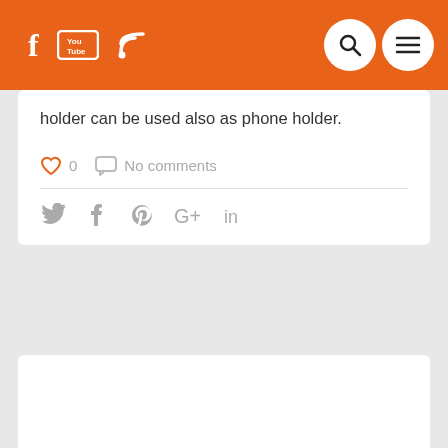Navigation bar with social icons (Facebook, YouTube, RSS) and search/menu buttons
holder can be used also as phone holder.
0  No comments
Social share icons: Twitter, Facebook, Pinterest, Google+, LinkedIn